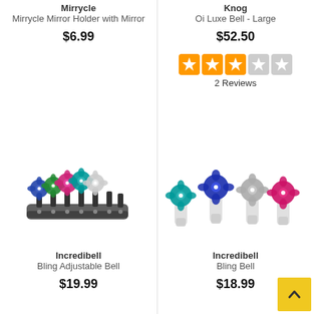Mirrycle
Mirrycle Mirror Holder with Mirror
$6.99
Knog
Oi Luxe Bell - Large
$52.50
[Figure (other): Star rating widget showing 2.5 out of 5 stars in orange/gray]
2 Reviews
[Figure (photo): Incredibell Bling Adjustable Bell - multiple colorful flower-topped bells on an adjustable band, colors include blue, green, pink, teal, white/silver]
Incredibell
Bling Adjustable Bell
$19.99
[Figure (photo): Incredibell Bling Bell - multiple individual colorful flower-topped bells, colors include teal, blue/navy, gray/silver, pink/magenta]
Incredibell
Bling Bell
$18.99